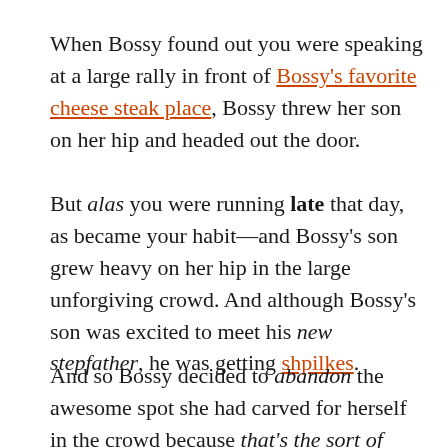When Bossy found out you were speaking at a large rally in front of Bossy's favorite cheese steak place, Bossy threw her son on her hip and headed out the door.
But alas you were running late that day, as became your habit—and Bossy's son grew heavy on her hip in the large unforgiving crowd. And although Bossy's son was excited to meet his new stepfather, he was getting shpilkes.
And so Bossy decided to abandon the awesome spot she had carved for herself in the crowd because that's the sort of sacrifice you make as a mother. So off Bossy traipsed in search of someone who would